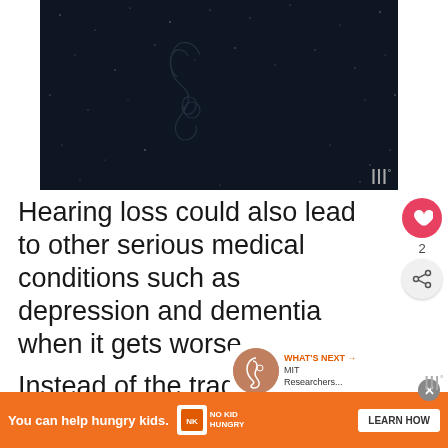[Figure (photo): Dark night sky background with star field and faint outline illustration of what appears to be an ear anatomy or hearing-related figure in the center]
Hearing loss could also lead to other serious medical conditions such as depression and dementia when it gets worse.
Instead of the traditional hearing aids or implants, biotechnology company
[Figure (other): WHAT'S NEXT arrow label followed by MIT Researchers... text with a circular ear photo thumbnail]
[Figure (other): Advertisement banner: You can help hungry kids. No Kid Hungry logo. LEARN HOW button.]